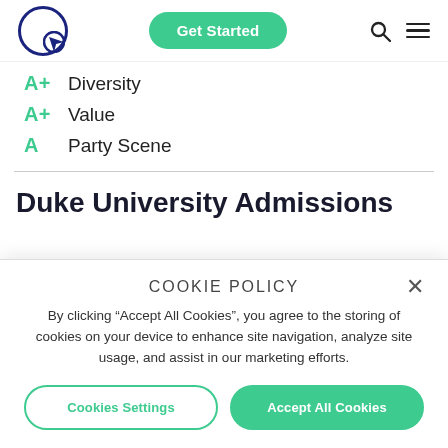Get Started [navigation bar with logo, search, menu]
A+ Diversity
A+ Value
A  Party Scene
Duke University Admissions
COOKIE POLICY
By clicking “Accept All Cookies”, you agree to the storing of cookies on your device to enhance site navigation, analyze site usage, and assist in our marketing efforts.
Cookies Settings  Accept All Cookies